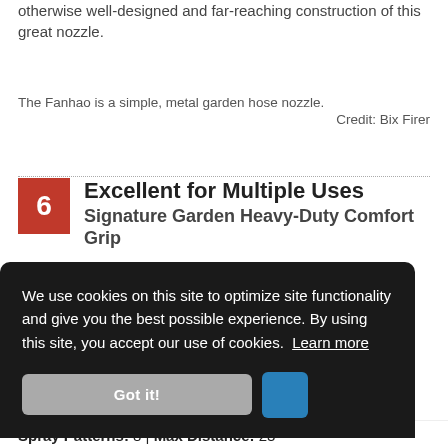otherwise well-designed and far-reaching construction of this great nozzle.
The Fanhao is a simple, metal garden hose nozzle.
Credit: Bix Firer
6 Excellent for Multiple Uses Signature Garden Heavy-Duty Comfort Grip
We use cookies on this site to optimize site functionality and give you the best possible experience. By using this site, you accept our use of cookies. Learn more
Got it!
Spray Patterns: 8 | Max Distance: 23'